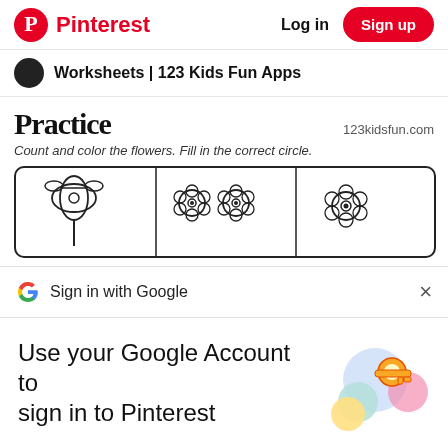Pinterest  |  Log in  |  Sign up
Worksheets | 123 Kids Fun Apps
Practice
123kidsfun.com
Count and color the flowers. Fill in the correct circle.
[Figure (illustration): Three cells with flower illustrations: one large flower with bow, two small flowers, and one single flower]
Sign in with Google
Use your Google Account to sign in to Pinterest
No more passwords to remember.
Signing in is fast, simple and secure.
[Figure (illustration): Google account key illustration with colorful circles and a golden key]
Continue